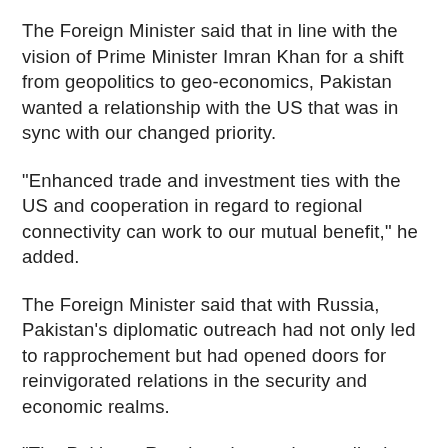The Foreign Minister said that in line with the vision of Prime Minister Imran Khan for a shift from geopolitics to geo-economics, Pakistan wanted a relationship with the US that was in sync with our changed priority.
"Enhanced trade and investment ties with the US and cooperation in regard to regional connectivity can work to our mutual benefit," he added.
The Foreign Minister said that with Russia, Pakistan’s diplomatic outreach had not only led to rapprochement but had opened doors for reinvigorated relations in the security and economic realms.
"The Pakistan-Russia trajectory is contributing to stability in the region and we will continue to strengthen it," he maintained.